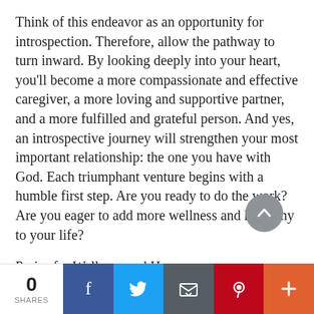Think of this endeavor as an opportunity for introspection. Therefore, allow the pathway to turn inward. By looking deeply into your heart, you'll become a more compassionate and effective caregiver, a more loving and supportive partner, and a more fulfilled and grateful person. And yes, an introspective journey will strengthen your most important relationship: the one you have with God. Each triumphant venture begins with a humble first step. Are you ready to do the work? Are you eager to add more wellness and harmony to your life?
Praise for Wellness and Harmony ...
[Figure (other): Social share bar with share count 0, Facebook, Twitter, Email, Pinterest, and plus buttons]